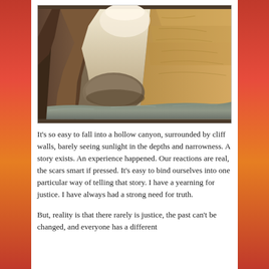[Figure (photo): A narrow slot canyon with tall sandstone walls closing in on both sides, water on the floor reflecting light, with bright light visible at the top between the canyon walls. Warm tan and orange rock tones.]
It's so easy to fall into a hollow canyon, surrounded by cliff walls, barely seeing sunlight in the depths and narrowness. A story exists. An experience happened. Our reactions are real, the scars smart if pressed. It's easy to bind ourselves into one particular way of telling that story. I have a yearning for justice. I have always had a strong need for truth.
But, reality is that there rarely is justice, the past can't be changed, and everyone has a different